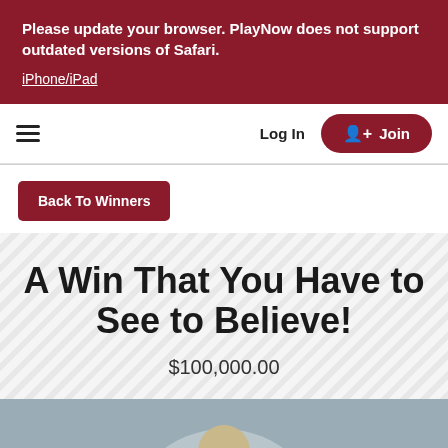Please update your browser. PlayNow does not support outdated versions of Safari. iPhone/iPad
Log In
Join
Back To Winners
A Win That You Have to See to Believe!
$100,000.00
[Figure (photo): Photo of a person with blonde hair against a grey background with a large circular shape]